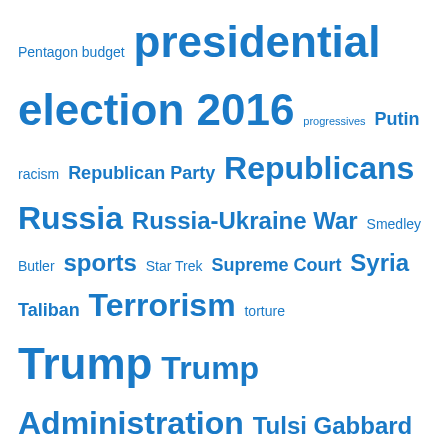Pentagon budget presidential election 2016 progressives Putin racism Republican Party Republicans Russia Russia-Ukraine War Smedley Butler sports Star Trek Supreme Court Syria Taliban Terrorism torture Trump Trump Administration Tulsi Gabbard Ukraine Vietnam Vietnam War violence War War on Terror warrior weapons weapons sales World War I World War II
TOP POSTS & PAGES
Vote for What You Believe In, Not for Crumbs
Seeing the Dark Side of the Moon -- and of America
The Republican Party of the Perpetual Now
Biden Tackles Student Debt -- and Misses
The Betrayal of Dwight D. Eisenhower by His Own Memorial in Washington DC
Why Did Nancy Pelosi Go to Taiwan?
Joe Biden Has Already Served His Purpose